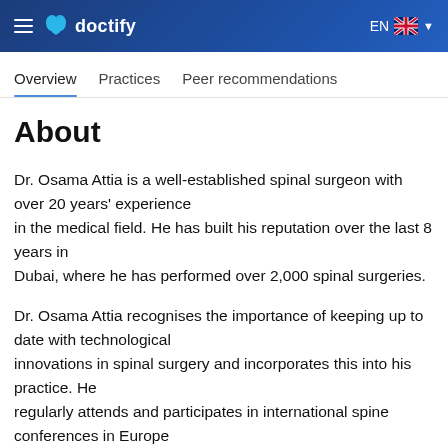doctify | EN
Overview | Practices | Peer recommendations
About
Dr. Osama Attia is a well-established spinal surgeon with over 20 years' experience in the medical field. He has built his reputation over the last 8 years in Dubai, where he has performed over 2,000 spinal surgeries.
Dr. Osama Attia recognises the importance of keeping up to date with technological innovations in spinal surgery and incorporates this into his practice. He regularly attends and participates in international spine conferences in Europe and the USA. He offers a caring and compassionate